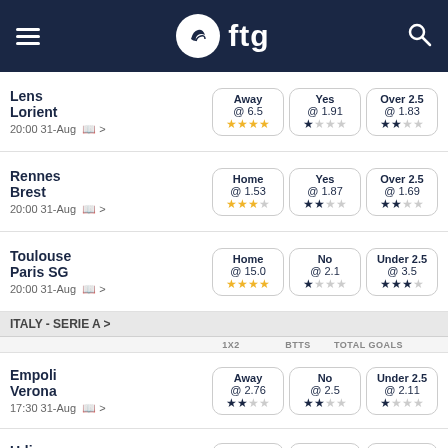ftg - sports betting tips app header
Lens vs Lorient, 20:00 31-Aug, Away @ 6.5 (4 stars), Yes @ 1.91 (1 star), Over 2.5 @ 1.83 (2 stars)
Rennes vs Brest, 20:00 31-Aug, Home @ 1.53 (3 stars), Yes @ 1.87 (2 stars), Over 2.5 @ 1.69 (2 stars)
Toulouse vs Paris SG, 20:00 31-Aug, Home @ 15.0 (4 stars), No @ 2.1 (1 star), Under 2.5 @ 3.5 (3 stars)
ITALY - SERIE A >
Empoli vs Verona, 17:30 31-Aug, Away @ 2.76 (2 stars), No @ 2.5 (2 stars), Under 2.5 @ 2.11 (1 star)
Udinese vs Fiorentina, 17:30 31-Aug, Away @ 2.64 (2 stars), No @ 2.5 (3 stars), Under 2.5 @ 2.14 (2 stars)
Sampdoria, Away, No, Over 2.5 (partial)